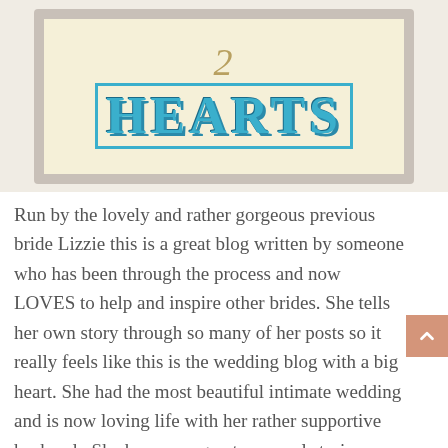[Figure (photo): A framed print on a light beige background. The frame is grey/taupe colored. Inside the frame on a cream/yellow textured background is the number '2' in a decorative script style at the top, and below it the word 'HEARTS' in large bold blue decorative block letters with a visible border/shadow effect.]
Run by the lovely and rather gorgeous previous bride Lizzie this is a great blog written by someone who has been through the process and now LOVES to help and inspire other brides. She tells her own story through so many of her posts so it really feels like this is the wedding blog with a big heart. She had the most beautiful intimate wedding and is now loving life with her rather supportive husband.  She has some great personal stories on the blog about budget, doing elements of the day on a shoe string, a new post with